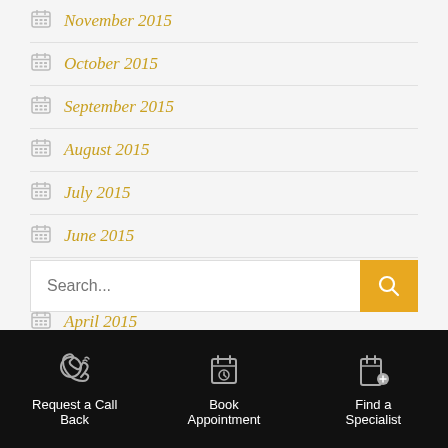November 2015
October 2015
September 2015
August 2015
July 2015
June 2015
May 2015
April 2015
Search...
Request a Call Back | Book Appointment | Find a Specialist